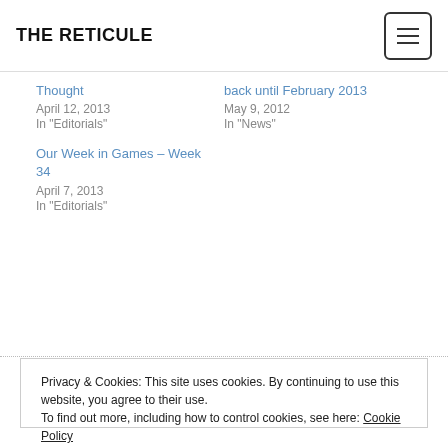THE RETICULE
Thought
April 12, 2013
In "Editorials"
back until February 2013
May 9, 2012
In "News"
Our Week in Games – Week 34
April 7, 2013
In "Editorials"
Privacy & Cookies: This site uses cookies. By continuing to use this website, you agree to their use.
To find out more, including how to control cookies, see here: Cookie Policy
Close and accept